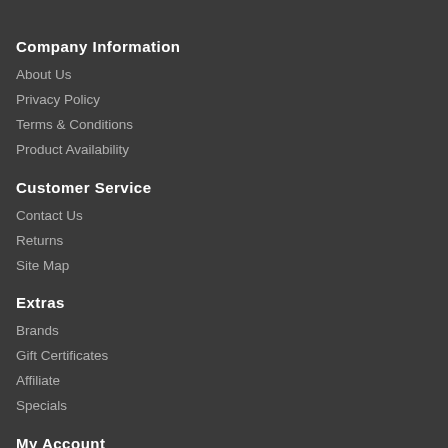Company Information
About Us
Privacy Policy
Terms & Conditions
Product Availability
Customer Service
Contact Us
Returns
Site Map
Extras
Brands
Gift Certificates
Affiliate
Specials
My Account
My Account
Order History
Wish List